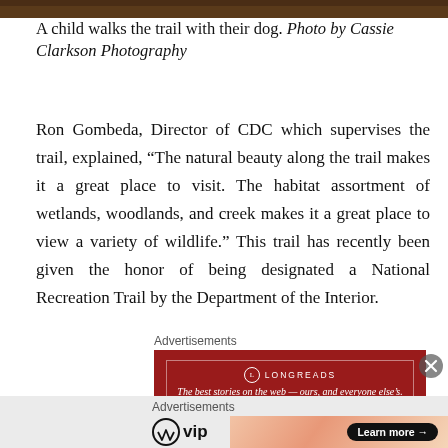[Figure (photo): Top strip of a photo showing a trail scene, partially cropped at top of page]
A child walks the trail with their dog. Photo by Cassie Clarkson Photography
Ron Gombeda, Director of CDC which supervises the trail, explained, “The natural beauty along the trail makes it a great place to visit. The habitat assortment of wetlands, woodlands, and creek makes it a great place to view a variety of wildlife.” This trail has recently been given the honor of being designated a National Recreation Trail by the Department of the Interior.
Advertisements
[Figure (screenshot): Longreads advertisement banner: red background with logo and tagline 'The best stories on the web — ours, and everyone else’s.']
Advertisements
[Figure (screenshot): WordPress VIP advertisement with logo on left and 'Learn more →' button on a gradient peach/orange banner on right]